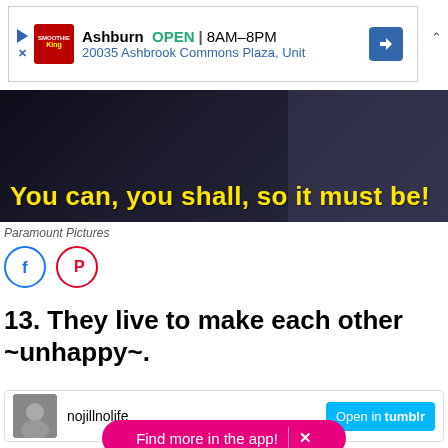[Figure (screenshot): Ad banner for Smoothie King Ashburn showing OPEN 8AM-8PM, 20035 Ashbrook Commons Plaza, Unit with navigation icon]
[Figure (screenshot): Dark movie still with bold yellow text: You can, you shall, so it must be!]
Paramount Pictures
[Figure (screenshot): Social share buttons: Facebook (blue circle) and Pinterest (red circle)]
13. They live to make each other ~unhappy~.
[Figure (screenshot): Tumblr card with nojillnolife avatar and Open in tumblr button, plus Find more in the app pink bar]